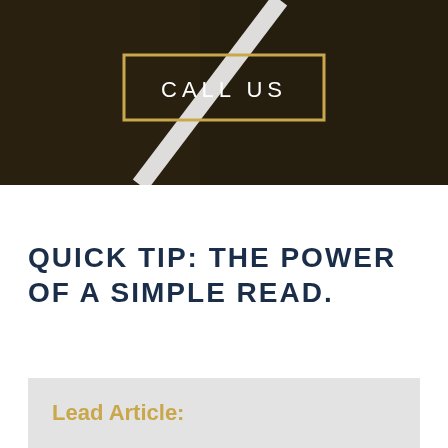[Figure (photo): Dark road photo background with a white diagonal road line/stripe visible, overlaid with a gold-bordered 'CALL US' button in white text centered on the image.]
QUICK TIP: THE POWER OF A SIMPLE READ.
Lead Article: